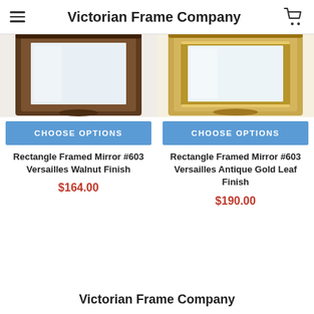Victorian Frame Company
[Figure (photo): Rectangle framed mirror with walnut finish, partially cropped from top]
CHOOSE OPTIONS
Rectangle Framed Mirror #603 Versailles Walnut Finish
$164.00
[Figure (photo): Rectangle framed mirror with antique gold leaf finish, partially cropped from top]
CHOOSE OPTIONS
Rectangle Framed Mirror #603 Versailles Antique Gold Leaf Finish
$190.00
Victorian Frame Company